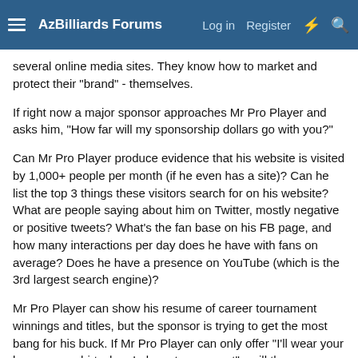AzBilliards Forums | Log in | Register
several online media sites. They know how to market and protect their "brand" - themselves.
If right now a major sponsor approaches Mr Pro Player and asks him, "How far will my sponsorship dollars go with you?"
Can Mr Pro Player produce evidence that his website is visited by 1,000+ people per month (if he even has a site)? Can he list the top 3 things these visitors search for on his website? What are people saying about him on Twitter, mostly negative or positive tweets? What's the fan base on his FB page, and how many interactions per day does he have with fans on average? Does he have a presence on YouTube (which is the 3rd largest search engine)?
Mr Pro Player can show his resume of career tournament winnings and titles, but the sponsor is trying to get the most bang for his buck. If Mr Pro Player can only offer "I'll wear your logo on my shirt when I play a tournament" - will the sponsor be